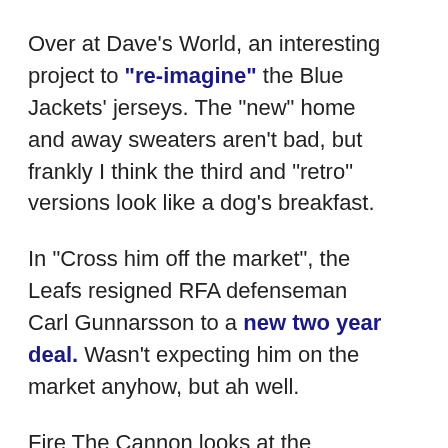Over at Dave's World, an interesting project to "re-imagine" the Blue Jackets' jerseys. The "new" home and away sweaters aren't bad, but frankly I think the third and "retro" versions look like a dog's breakfast.
In "Cross him off the market", the Leafs resigned RFA defenseman Carl Gunnarsson to a new two year deal. Wasn't expecting him on the market anyhow, but ah well.
Fire The Cannon looks at the Jackets' first round success...or lack thereof, and last but not least the Jacket Backers are partnering with the Blue Jackets and Sunny95 to appear at neighborhood "Block Parties" all summer. Go take a look at their schedule!